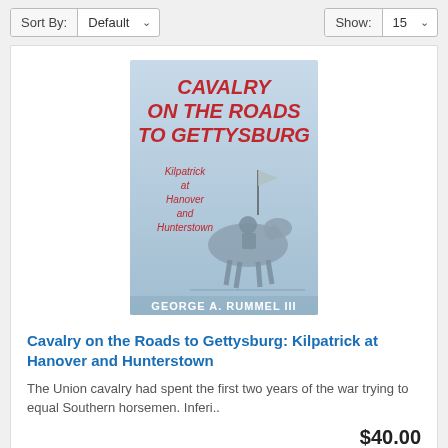Sort By: Default  Show: 15
[Figure (illustration): Book cover for 'Cavalry on the Roads to Gettysburg: Kilpatrick at Hanover and Hunterstown' by George A. Rummel III. Light blue background with red bold title text at top and an illustration of a cavalry soldier on horseback.]
Cavalry on the Roads to Gettysburg: Kilpatrick at Hanover and Hunterstown
The Union cavalry had spent the first two years of the war trying to equal Southern horsemen. Inferi..
$40.00